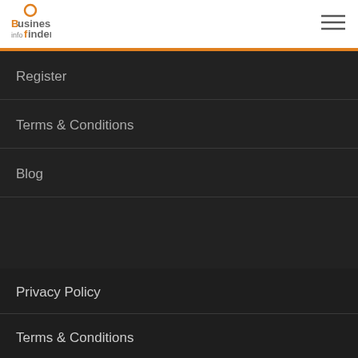Business Info Finder
Register
Terms & Conditions
Blog
Privacy Policy
Terms & Conditions
Terms of Use
Contact